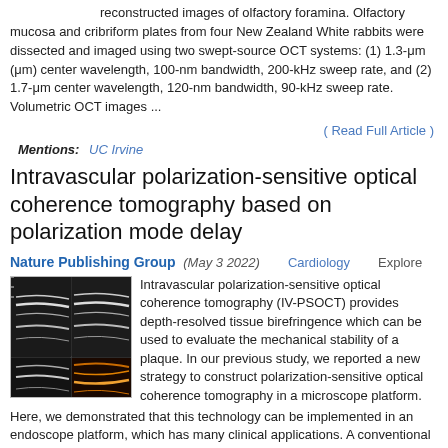reconstructed images of olfactory foramina. Olfactory mucosa and cribriform plates from four New Zealand White rabbits were dissected and imaged using two swept-source OCT systems: (1) 1.3-μm (μm) center wavelength, 100-nm bandwidth, 200-kHz sweep rate, and (2) 1.7-μm center wavelength, 120-nm bandwidth, 90-kHz sweep rate. Volumetric OCT images ...
( Read Full Article )
Mentions: UC Irvine
Intravascular polarization-sensitive optical coherence tomography based on polarization mode delay
Nature Publishing Group (May 3 2022)   Cardiology   Explore
[Figure (photo): OCT scan images showing cross-sectional tissue layers in grayscale and a false-color orange/gold image at the bottom, arranged in a 2x3 grid of OCT scan panels.]
Intravascular polarization-sensitive optical coherence tomography (IV-PSOCT) provides depth-resolved tissue birefringence which can be used to evaluate the mechanical stability of a plaque. In our previous study, we reported a new strategy to construct polarization-sensitive optical coherence tomography in a microscope platform. Here, we demonstrated that this technology can be implemented in an endoscope platform, which has many clinical applications. A conventional intravascular OCT system can be modified for IV-PSOCT by introducing a 12-m polarization-maintaining fiber-based imaging probe. Its two polarization modes separately produce OCT images of polarization detection channels spatially